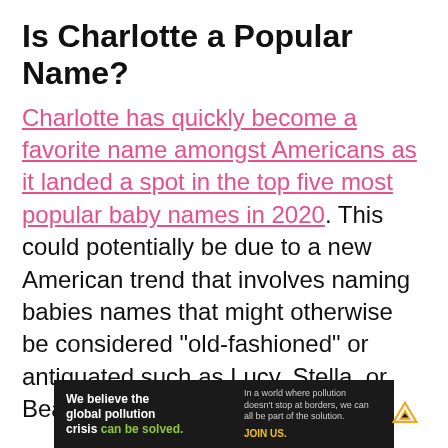Is Charlotte a Popular Name?
Charlotte has quickly become a favorite name amongst Americans as it landed a spot in the top five most popular baby names in 2020. This could potentially be due to a new American trend that involves naming babies names that might otherwise be considered “old-fashioned” or antiquated such as Lucy, Stella, or Beatrice.
Make no mistake, however, that though
[Figure (infographic): Advertisement banner for Pure Earth organization. Black background with white text: 'We believe the global pollution crisis can be solved.' Text on right: 'In a world where pollution doesn’t stop at borders, we can all be part of the solution. JOIN US.' Pure Earth logo with diamond/arrow icon.]